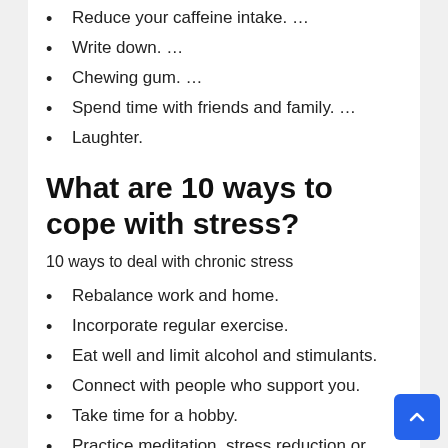Reduce your caffeine intake. …
Write down. …
Chewing gum. …
Spend time with friends and family. …
Laughter.
What are 10 ways to cope with stress?
10 ways to deal with chronic stress
Rebalance work and home.
Incorporate regular exercise.
Eat well and limit alcohol and stimulants.
Connect with people who support you.
Take time for a hobby.
Practice meditation, stress reduction or